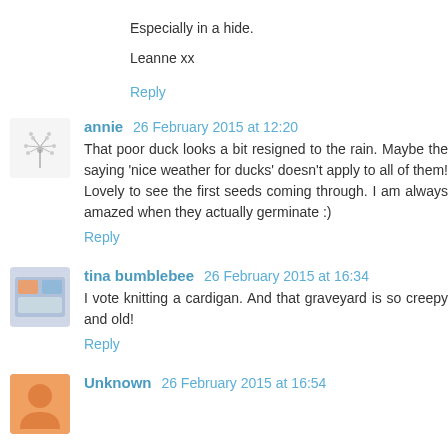Especially in a hide.
Leanne xx
Reply
annie 26 February 2015 at 12:20
That poor duck looks a bit resigned to the rain. Maybe the saying 'nice weather for ducks' doesn't apply to all of them! Lovely to see the first seeds coming through. I am always amazed when they actually germinate :)
Reply
tina bumblebee 26 February 2015 at 16:34
I vote knitting a cardigan. And that graveyard is so creepy and old!
Reply
Unknown 26 February 2015 at 16:54